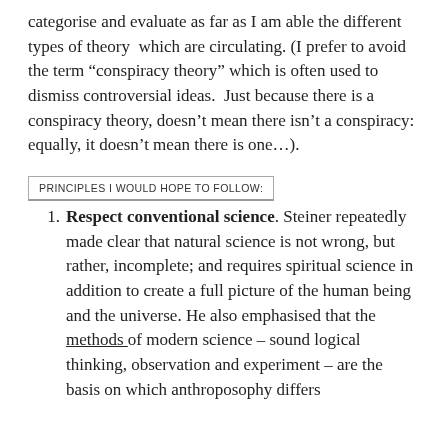categorise and evaluate as far as I am able the different types of theory  which are circulating. (I prefer to avoid the term “conspiracy theory” which is often used to dismiss controversial ideas.  Just because there is a conspiracy theory, doesn’t mean there isn’t a conspiracy: equally, it doesn’t mean there is one…).
PRINCIPLES I WOULD HOPE TO FOLLOW:
Respect conventional science. Steiner repeatedly made clear that natural science is not wrong, but rather, incomplete; and requires spiritual science in addition to create a full picture of the human being and the universe. He also emphasised that the methods of modern science – sound logical thinking, observation and experiment – are the basis on which anthroposophy differs